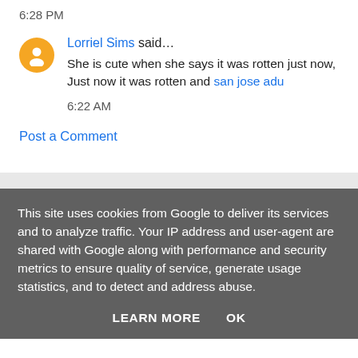6:28 PM
Lorriel Sims said…
She is cute when she says it was rotten just now, Just now it was rotten and san jose adu
6:22 AM
Post a Comment
This site uses cookies from Google to deliver its services and to analyze traffic. Your IP address and user-agent are shared with Google along with performance and security metrics to ensure quality of service, generate usage statistics, and to detect and address abuse.
LEARN MORE   OK